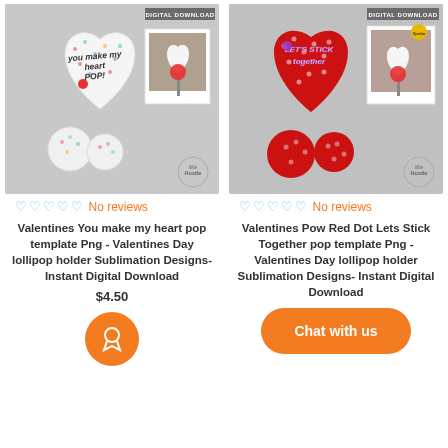[Figure (photo): Valentine lollipop holder product image - white heart with colorful dots and 'you make my heart pop' text, showing product pieces]
No reviews
Valentines You make my heart pop template Png - Valentines Day lollipop holder Sublimation Designs- Instant Digital Download
$4.50
[Figure (photo): Valentine lollipop holder product image - red heart with polka dots and 'Let's Stick Together' text, showing product pieces]
No reviews
Valentines Pow Red Dot Lets Stick Together pop template Png -Valentines Day lollipop holder Sublimation Designs- Instant Digital Download
[Figure (illustration): Orange circular award/badge button icon]
[Figure (illustration): Orange rounded rectangle Chat with us button]